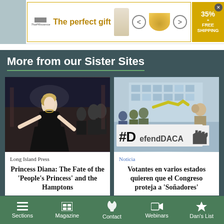[Figure (illustration): Advertisement banner: 'The perfect gift' with food bowl imagery, navigation arrows, 35% free shipping badge]
More from our Sister Sites
[Figure (photo): Princess Diana dancing in a black dress at a formal event]
Long Island Press
Princess Diana: The Fate of the 'People's Princess' and the Hamptons
[Figure (photo): Protesters holding a #DefendDACA banner with raised fist graphic]
Noticia
Votantes en varios estados quieren que el Congreso proteja a 'Soñadores'
Sections  Magazine  Contact  Webinars  Dan's List